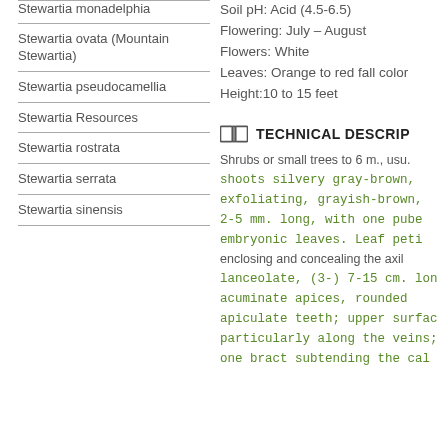Stewartia monadelphia
Stewartia ovata (Mountain Stewartia)
Stewartia pseudocamellia
Stewartia Resources
Stewartia rostrata
Stewartia serrata
Stewartia sinensis
Soil pH: Acid (4.5-6.5)
Flowering: July – August
Flowers: White
Leaves: Orange to red fall color
Height:10 to 15 feet
TECHNICAL DESCRIP…
Shrubs or small trees to 6 m., usu... shoots silvery gray-brown, exfoliating, grayish-brown, 2-5 mm. long, with one pube embryonic leaves. Leaf peti... enclosing and concealing the axi... lanceolate, (3-) 7-15 cm. lo... acuminate apices, rounded... apiculate teeth; upper surfa... particularly along the veins... one bract subtending the ca...